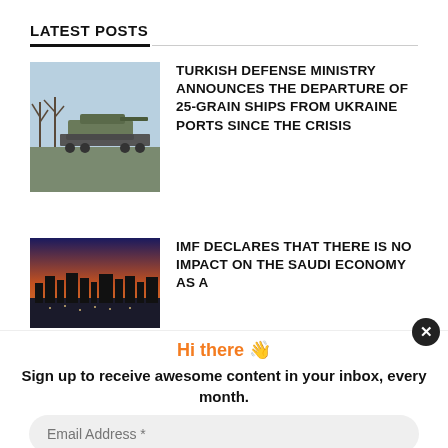LATEST POSTS
[Figure (photo): Military tanks on flatbed railway cars, bare trees in background]
TURKISH DEFENSE MINISTRY ANNOUNCES THE DEPARTURE OF 25-GRAIN SHIPS FROM UKRAINE PORTS SINCE THE CRISIS
[Figure (photo): Aerial city skyline at dusk with orange and purple sky]
IMF DECLARES THAT THERE IS NO IMPACT ON THE SAUDI ECONOMY AS A
Hi there 👋
Sign up to receive awesome content in your inbox, every month.
Email Address *